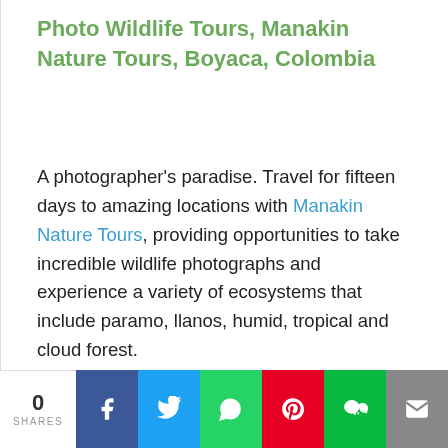Photo Wildlife Tours, Manakin Nature Tours, Boyaca, Colombia
A photographer's paradise. Travel for fifteen days to amazing locations with Manakin Nature Tours, providing opportunities to take incredible wildlife photographs and experience a variety of ecosystems that include paramo, llanos, humid, tropical and cloud forest.
We use cookies to give you the best service on our site. By continuing to use the site you consent to our Privacy Policy.
Read More   ACCEPT
0 SHARES  [Facebook] [Twitter] [WhatsApp] [Pinterest] [WeChat] [Email]